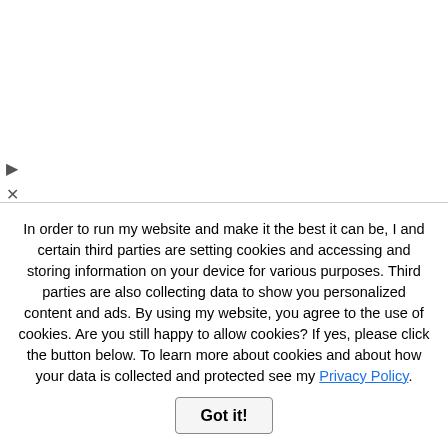[Figure (screenshot): Hair Cuttery advertisement banner with yellow logo showing HC initials, title 'Book a Same Day Appointment', subtitle 'Hair Cuttery', and a blue diamond navigation arrow icon on the right]
me whether you think these posts are so thank you for sharing with me.
Hi Freedom, of course the posts are scams. the dozen every day, I can not remove them are posted.
In order to run my website and make it the best it can be, I and certain third parties are setting cookies and accessing and storing information on your device for various purposes. Third parties are also collecting data to show you personalized content and ads. By using my website, you agree to the use of cookies. Are you still happy to allow cookies? If yes, please click the button below. To learn more about cookies and about how your data is collected and protected see my Privacy Policy.
Got it!